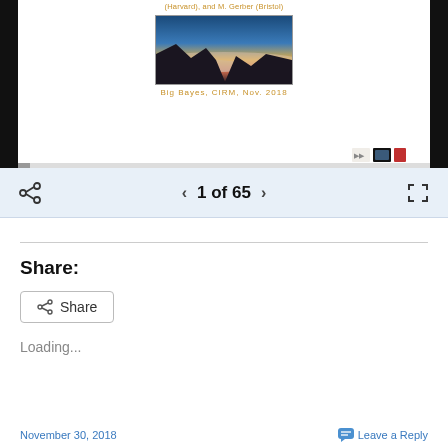(Harvard), and M. Gerber (Bristol)
[Figure (photo): Landscape photo showing a mountain silhouette against a sunset sky with clouds below, captioned 'Big Bayes, CIRM, Nov. 2018']
Big Bayes, CIRM, Nov. 2018
1 of 65
Share:
Share
Loading...
November 30, 2018   Leave a Reply